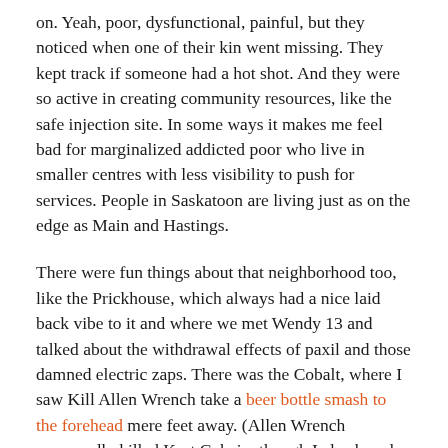on. Yeah, poor, dysfunctional, painful, but they noticed when one of their kin went missing. They kept track if someone had a hot shot. And they were so active in creating community resources, like the safe injection site. In some ways it makes me feel bad for marginalized addicted poor who live in smaller centres with less visibility to push for services. People in Saskatoon are living just as on the edge as Main and Hastings.
There were fun things about that neighborhood too, like the Prickhouse, which always had a nice laid back vibe to it and where we met Wendy 13 and talked about the withdrawal effects of paxil and those damned electric zaps. There was the Cobalt, where I saw Kill Allen Wrench take a beer bottle smash to the forehead mere feet away. (Allen Wrench supposedly killed Kurt Cobain, though I also heard a rumour it was his cult suicide programming kicking in.) Allen Wrench and his bloody face were so close my friend caught a flyer for the event soaked in blood. I was a little